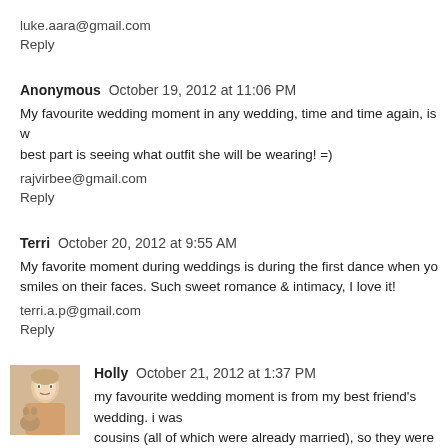luke.aara@gmail.com
Reply
Anonymous  October 19, 2012 at 11:06 PM
My favourite wedding moment in any wedding, time and time again, is w... best part is seeing what outfit she will be wearing! =)
rajvirbee@gmail.com
Reply
Terri  October 20, 2012 at 9:55 AM
My favorite moment during weddings is during the first dance when yo... smiles on their faces. Such sweet romance & intimacy, I love it!
terri.a.p@gmail.com
Reply
Holly  October 21, 2012 at 1:37 PM
my favourite wedding moment is from my best friend's wedding. i was... cousins (all of which were already married), so they were great help. Bu... was in the middle of my speech and i started tearing up and pretty muc...